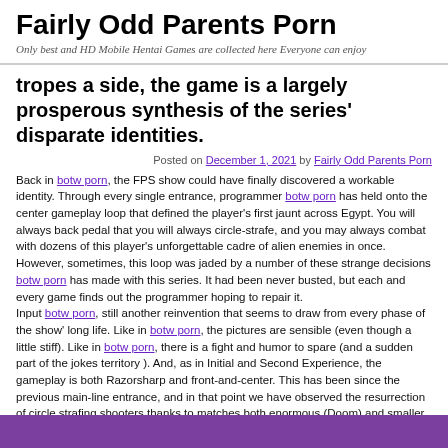Fairly Odd Parents Porn
Only best and HD Mobile Hentai Games are collected here Everyone can enjoy
tropes a side, the game is a largely prosperous synthesis of the series' disparate identities.
Posted on December 1, 2021 by Fairly Odd Parents Porn
Back in botw porn, the FPS show could have finally discovered a workable identity. Through every single entrance, programmer botw porn has held onto the center gameplay loop that defined the player's first jaunt across Egypt. You will always back pedal that you will always circle-strafe, and you may always combat with dozens of this player's unforgettable cadre of alien enemies in once. However, sometimes, this loop was jaded by a number of these strange decisions botw porn has made with this series. It had been never busted, but each and every game finds out the programmer hoping to repair it.
Input botw porn, still another reinvention that seems to draw from every phase of the show' long life. Like in botw porn, the pictures are sensible (even though a little stiff). Like in botw porn, there is a fight and humor to spare (and a sudden part of the jokes territory ). And, as in Initial and Second Experience, the gameplay is both Razorsharp and front-and-center. This has been since the previous main-line entrance, and in that point we have observed the resurrection of circle strafing shooters thanks to matches both enormous (Doom) and smaller (Dusk). However, within this recently crowded landscape, botw porn has a secret weapon. botw porn is only eager to throw some silly variety of enemies at you at all situations plus it has got the technology to pull it off.
Within this excursion, that functions like a prequel into botw porn, the player and also a small team of resistance fighters are attempting to push the villainous psychological's assault in the world. The alien horde has recently won, but the immunity; honor to score...